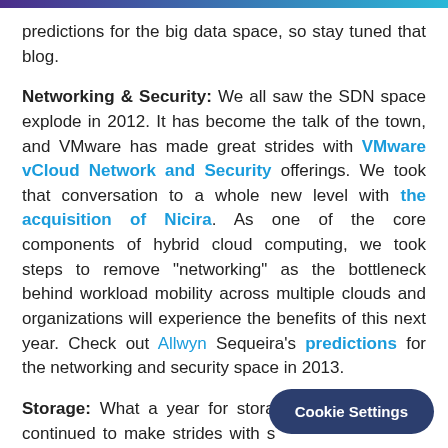predictions for the big data space, so stay tuned that blog.
Networking & Security: We all saw the SDN space explode in 2012. It has become the talk of the town, and VMware has made great strides with VMware vCloud Network and Security offerings. We took that conversation to a whole new level with the acquisition of Nicira. As one of the core components of hybrid cloud computing, we took steps to remove "networking" as the bottleneck behind workload mobility across multiple clouds and organizations will experience the benefits of this next year. Check out Allwyn Sequeira's predictions for the networking and security space in 2013.
Storage: What a year for storage! The ecosystem continued to make strides with storage technologies to support highly virtualized and cl...